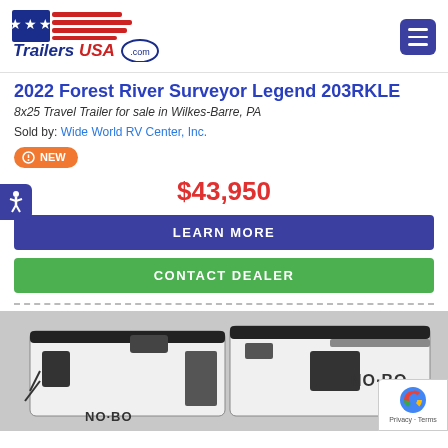[Figure (logo): TrailersUSA.com logo with American flag stars and red stripes graphic]
2022 Forest River Surveyor Legend 203RKLE
8x25 Travel Trailer for sale in Wilkes-Barre, PA
Sold by: Wide World RV Center, Inc.
NEW
$43,950
LEARN MORE
CONTACT DEALER
[Figure (photo): Photo of a Forest River NoBO travel trailer, white exterior with black accents and NoBO branding visible on the side]